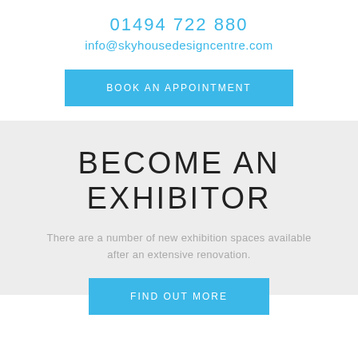01494 722 880
info@skyhousedesigncentre.com
BOOK AN APPOINTMENT
BECOME AN EXHIBITOR
There are a number of new exhibition spaces available after an extensive renovation.
FIND OUT MORE